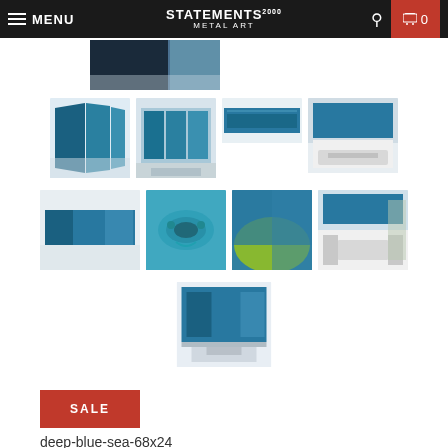MENU | STATEMENTS METAL ART 2000 | 0
[Figure (photo): Partial view of deep blue sea metal art panel from top]
[Figure (photo): Thumbnail grid row 1: abstract angled panels, room installation, flat panel strip, room with sofa]
[Figure (photo): Thumbnail grid row 2: gallery wall installation, sea turtle close-up, green underwater, dining room installation]
[Figure (photo): Single thumbnail: deep blue sea artwork in room]
SALE
deep-blue-sea-68x24